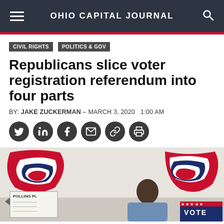OHIO CAPITAL JOURNAL
CIVIL RIGHTS
POLITICS & GOV
Republicans slice voter registration referendum into four parts
BY: JAKE ZUCKERMAN - MARCH 3, 2020   1:00 AM
[Figure (photo): Person voting at a polling place. Red, white and blue patriotic bunting decorations on wall behind. A 'POLLING PLACE' sign and 'VOTE' banner visible.]